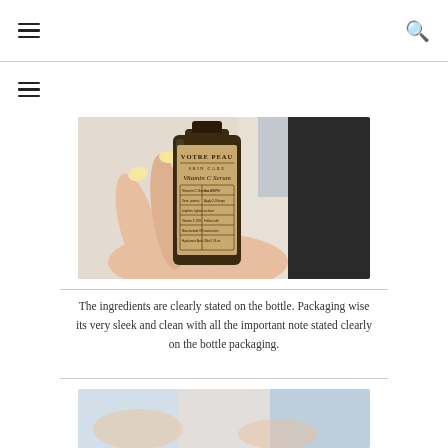[hamburger menu] [search icon]
[Figure (other): Navigation sub-menu hamburger icon]
[Figure (photo): Hand holding a Votre Peau Skin Care Vitamin C Serum amber bottle with a detailed label showing ingredients and usage information. The bottle has a light brown kraft-paper label. The hand has painted nails with floral nail art.]
The ingredients are clearly stated on the bottle. Packaging wise its very sleek and clean with all the important note stated clearly on the bottle packaging.
[Figure (photo): Partial view of a skincare product packaging at the bottom of the page.]